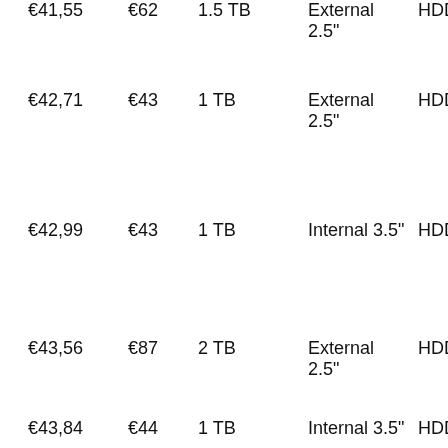| Price | Ref | Capacity |  | Form Factor | Type |
| --- | --- | --- | --- | --- | --- |
| €41,55 | €62 | 1.5 TB |  | External 2.5" | HDD |
| €42,71 | €43 | 1 TB |  | External 2.5" | HDD |
| €42,99 | €43 | 1 TB |  | Internal 3.5" | HDD |
| €43,56 | €87 | 2 TB |  | External 2.5" | HDD |
| €43,84 | €44 | 1 TB |  | Internal 3.5" | HDD |